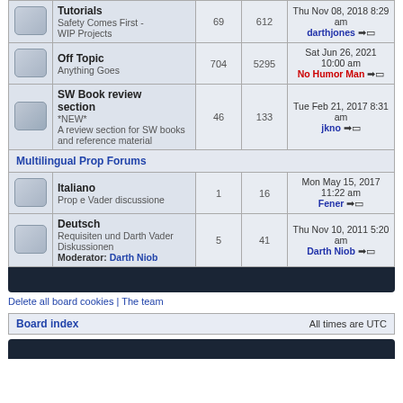| Icon | Forum | Topics | Posts | Last post |
| --- | --- | --- | --- | --- |
| [icon] | Tutorials
Safety Comes First - WIP Projects | 69 | 612 | Thu Nov 08, 2018 8:29 am
darthjones →▭ |
| [icon] | Off Topic
Anything Goes | 704 | 5295 | Sat Jun 26, 2021 10:00 am
No Humor Man →▭ |
| [icon] | SW Book review section
*NEW*
A review section for SW books and reference material | 46 | 133 | Tue Feb 21, 2017 8:31 am
jkno →▭ |
| [section] | Multilingual Prop Forums |  |  |  |
| [icon] | Italiano
Prop e Vader discussione | 1 | 16 | Mon May 15, 2017 11:22 am
Fener →▭ |
| [icon] | Deutsch
Requisiten und Darth Vader Diskussionen
Moderator: Darth Niob | 5 | 41 | Thu Nov 10, 2011 5:20 am
Darth Niob →▭ |
Delete all board cookies | The team
Board index    All times are UTC